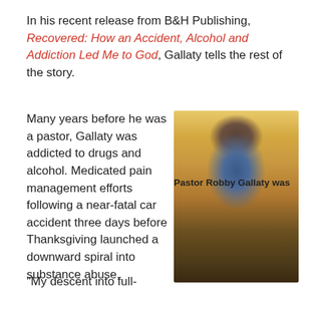In his recent release from B&H Publishing, Recovered: How an Accident, Alcohol and Addiction Led Me to God, Gallaty tells the rest of the story.
Many years before he was a pastor, Gallaty was addicted to drugs and alcohol. Medicated pain management efforts following a near-fatal car accident three days before Thanksgiving launched a downward spiral into substance abuse.
[Figure (photo): Photo of Pastor Robby Gallaty smiling, wearing a blue and red plaid shirt and jeans, standing outdoors in front of fall foliage with yellow and orange leaves.]
Pastor Robby Gallaty was
"My descent into full-